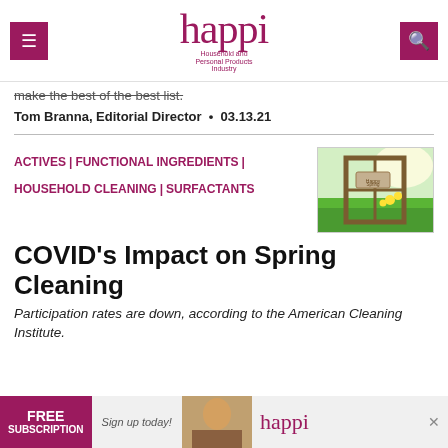happi — Household and Personal Products Industry
make the best of the best list.
Tom Branna, Editorial Director • 03.13.21
ACTIVES | FUNCTIONAL INGREDIENTS | HOUSEHOLD CLEANING | SURFACTANTS
[Figure (photo): Spring scene showing an open window with green grass and yellow flowers outside, with a small sign reading 'Happy Spring']
COVID's Impact on Spring Cleaning
Participation rates are down, according to the American Cleaning Institute.
[Figure (other): Advertisement bar: FREE SUBSCRIPTION - Sign up today! with happi logo and model photo]